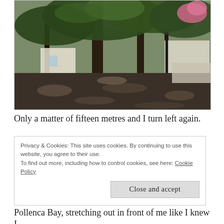[Figure (photo): Outdoor street scene with tall trees lining a cobblestone path, dappled sunlight on the ground, white buildings visible in background, pink bougainvillea flowers upper right]
Only a matter of fifteen metres and I turn left again.
Privacy & Cookies: This site uses cookies. By continuing to use this website, you agree to their use.
To find out more, including how to control cookies, see here: Cookie Policy
[Close and accept]
Pollenca Bay, stretching out in front of me like I knew I